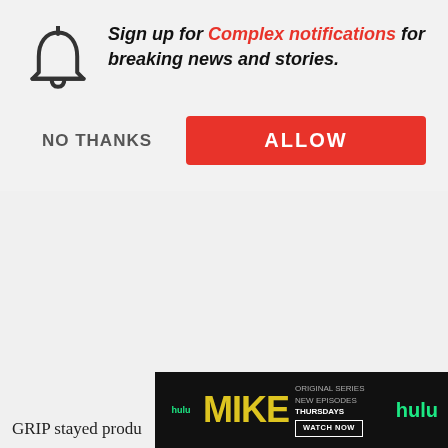Sign up for Complex notifications for breaking news and stories.
NO THANKS
ALLOW
GRIP stayed produ series of singles a after a merciless 2 point. He had life- the last second, he tour with Brent Fa "It feels like I get s of the pandemic, still independent, still hungry, still feeli GRIP
[Figure (screenshot): Video thumbnail for '360 with Speedy Morman' showing DJ Khaled segment]
DJ Khaled On How To Get A Jay Z Verse, Obama Walking Out To All I Do Is Win & God Did
[Figure (screenshot): Hulu advertisement banner for MIKE original series, new episodes Thursdays, Watch Now]